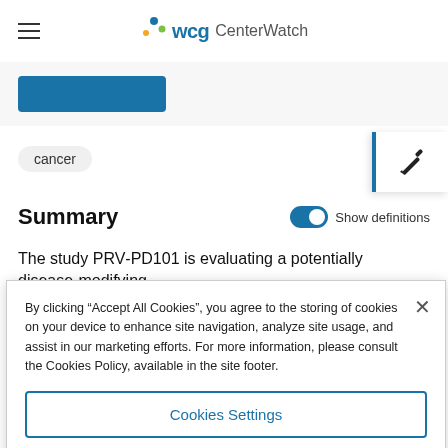WCG CenterWatch
[Figure (screenshot): Partially visible blue button strip at top of page content area]
cancer
Summary
Show definitions
The study PRV-PD101 is evaluating a potentially disease-modifying,
By clicking “Accept All Cookies”, you agree to the storing of cookies on your device to enhance site navigation, analyze site usage, and assist in our marketing efforts. For more information, please consult the Cookies Policy, available in the site footer.
Cookies Settings
Reject All
Accept All Cookies